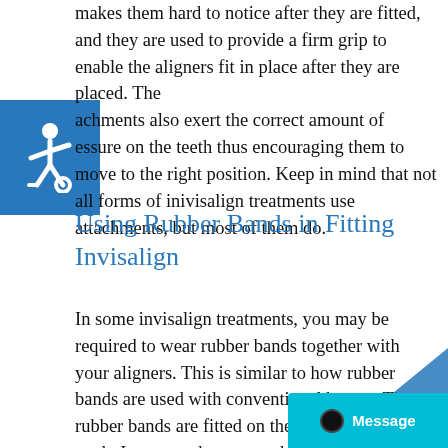makes them hard to notice after they are fitted, and they are used to provide a firm grip to enable the aligners fit in place after they are placed. The achments also exert the correct amount of essure on the teeth thus encouraging them to move to the right position. Keep in mind that not all forms of inivisalign treatments use attachments, but most of them do.
[Figure (logo): Blue accessibility icon (wheelchair symbol) on a blue square background]
Using Rubber Bands in Fitting Invisalign
In some invisalign treatments, you may be required to wear rubber bands together with your aligners. This is similar to how rubber bands are used with conventional braces. The rubber bands are fitted on the aligner to rotate teeth. In some other cases, the rubber bands can be used on the lower and upper aligners to help correc
[Figure (other): Message chat widget in cyan/teal at bottom right corner with a dark circle dot and Message label]